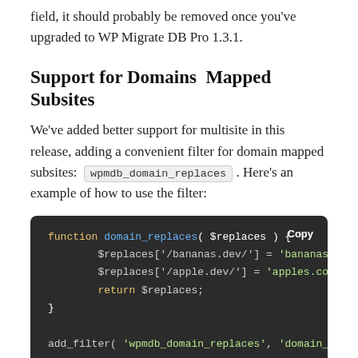field, it should probably be removed once you've upgraded to WP Migrate DB Pro 1.3.1.
Support for Domains Mapped Subsites
We've added better support for multisite in this release, adding a convenient filter for domain mapped subsites: wpmdb_domain_replaces . Here's an example of how to use the filter:
[Figure (screenshot): Dark-themed code block showing a PHP function 'domain_replaces' that sets $replaces array entries for '/bananas.dev/' and '/apple.dev/', returns $replaces, then closes with a brace, followed by an add_filter call with 'wpmdb_domain_replaces' and 'domain_replaces'. A 'Copy' button is visible top-right.]